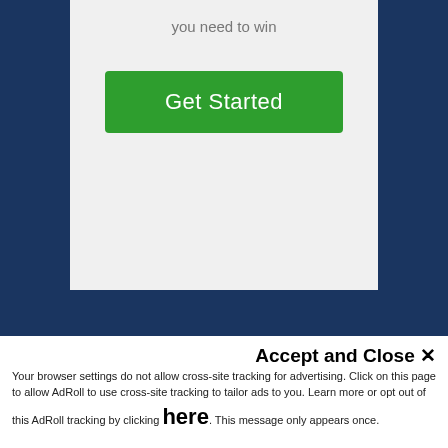you need to win
[Figure (other): Green 'Get Started' button]
Get This Valuable PDF – The Map is Where It's At! Today
[Figure (other): Scroll-to-top arrow button on right side]
Accept and Close ✕
Your browser settings do not allow cross-site tracking for advertising. Click on this page to allow AdRoll to use cross-site tracking to tailor ads to you. Learn more or opt out of this AdRoll tracking by clicking here. This message only appears once.